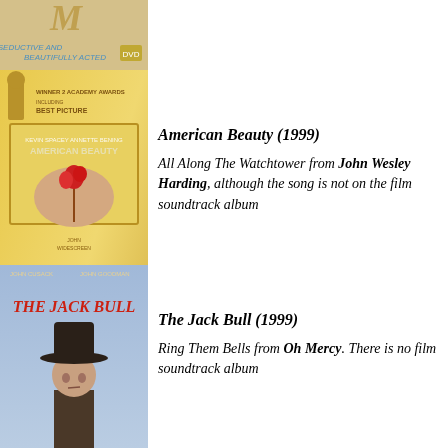[Figure (photo): Partial top cover of a movie DVD, partially cropped at top]
[Figure (photo): American Beauty (1999) DVD cover - gold background with hand holding red rose]
American Beauty (1999)
All Along The Watchtower from John Wesley Harding, although the song is not on the film soundtrack album
[Figure (photo): The Jack Bull (1999) DVD cover - man in cowboy hat with riders in background]
The Jack Bull (1999)
Ring Them Bells from Oh Mercy. There is no film soundtrack album
Jesus' Son (2000)